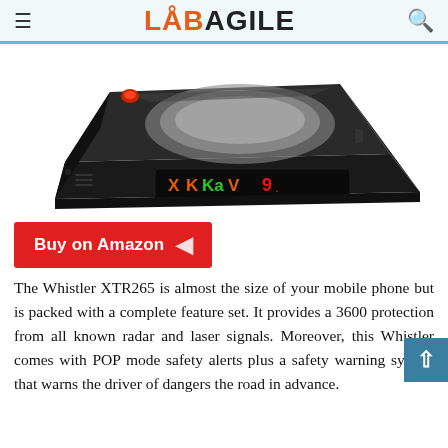LABAGILE
[Figure (photo): Whistler XTR265 radar detector device shown at an angle, black casing with display showing X K Ka V 9 in orange/green/red colors]
Buy on Amazon
The Whistler XTR265 is almost the size of your mobile phone but is packed with a complete feature set. It provides a 3600 protection from all known radar and laser signals. Moreover, this Whistler comes with POP mode safety alerts plus a safety warning system that warns the driver of dangers the road in advance.